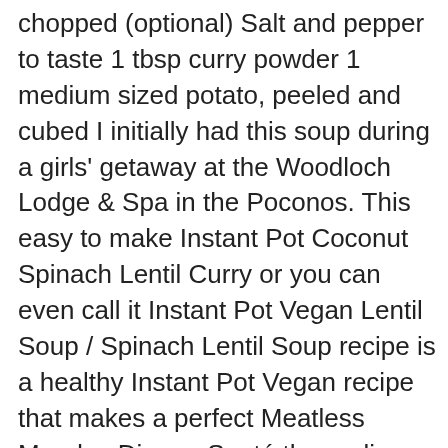chopped (optional) Salt and pepper to taste 1 tbsp curry powder 1 medium sized potato, peeled and cubed I initially had this soup during a girls' getaway at the Woodloch Lodge & Spa in the Poconos. This easy to make Instant Pot Coconut Spinach Lentil Curry or you can even call it Instant Pot Vegan Lentil Soup / Spinach Lentil Soup recipe is a healthy Instant Pot Vegan recipe that makes a perfect Meatless Monday Dinner. Sauté the garlic and ginger over medium heat for ... I love Thai-inspired dishes because there are so many layers of flavor. It turned out beautifully. Bring to a simmer and let cook for approx. It's such a cozy and ... I love serving this with a slice or two of whole grain bread spread with Earth Balance. Try it with this Coconut ... I added chopped sugarsnaps, spring onions, chilies and coriander as condiments. Laksa can most commonly be found in Indonesia, Malaysia, Singapore, and southern Thailand. But, this recipe is a quick, flavorful, Americanized Instant